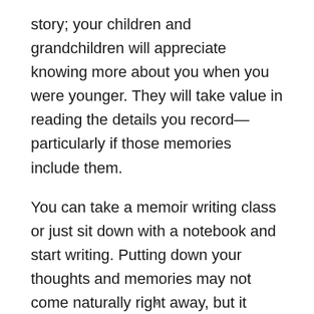story; your children and grandchildren will appreciate knowing more about you when you were younger. They will take value in reading the details you record—particularly if those memories include them.
You can take a memoir writing class or just sit down with a notebook and start writing. Putting down your thoughts and memories may not come naturally right away, but it becomes more comfortable with daily practice.
Of course, you don't have to share your life story. You
v